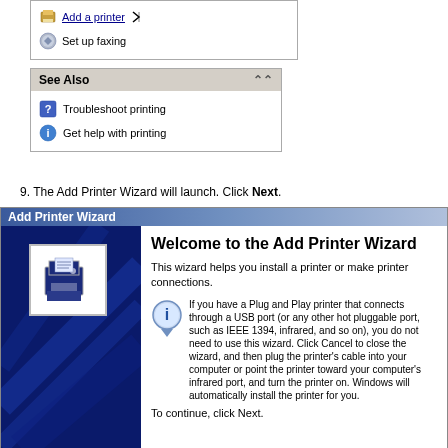[Figure (screenshot): Windows XP Printers and Faxes panel showing 'Add a printer' link (partially visible, cursor hovering) and 'Set up faxing' link, plus a 'See Also' section with 'Troubleshoot printing' and 'Get help with printing' links]
9. The Add Printer Wizard will launch. Click Next.
[Figure (screenshot): Add Printer Wizard dialog window with dark blue left panel showing printer icon, and right panel titled 'Welcome to the Add Printer Wizard' with introductory text and Plug and Play information note, ending with 'To continue, click Next.']